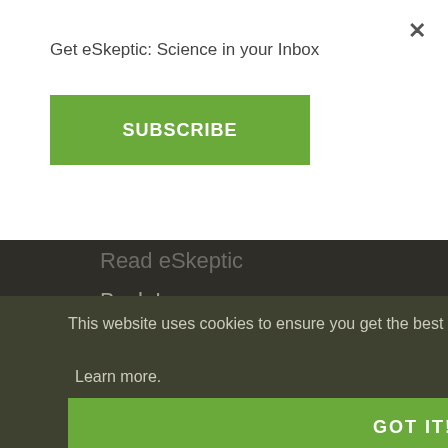Get eSkeptic: Science in your Inbox
×
SUBSCRIBE
Read eSkeptic
Back Issues
Subscribe
Unsubscribe
This website uses cookies to ensure you get the best experience on our website. Learn more.
GOT IT!